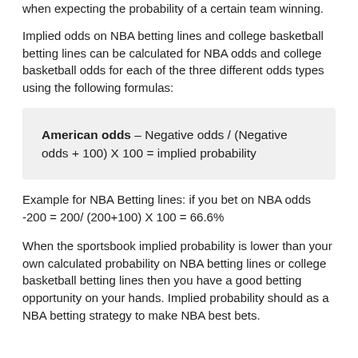when expecting the probability of a certain team winning.
Implied odds on NBA betting lines and college basketball betting lines can be calculated for NBA odds and college basketball odds for each of the three different odds types using the following formulas:
Example for NBA Betting lines: if you bet on NBA odds -200 = 200/ (200+100) X 100 = 66.6%
When the sportsbook implied probability is lower than your own calculated probability on NBA betting lines or college basketball betting lines then you have a good betting opportunity on your hands. Implied probability should as a NBA betting strategy to make NBA best bets.